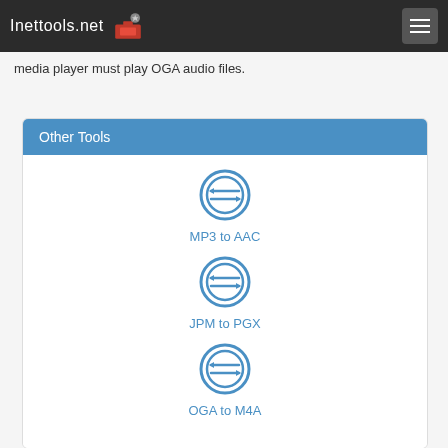Inettools.net
media player must play OGA audio files.
Other Tools
[Figure (illustration): Conversion icon circle with two horizontal arrows pointing left and right, blue outline style]
MP3 to AAC
[Figure (illustration): Conversion icon circle with two horizontal arrows pointing left and right, blue outline style]
JPM to PGX
[Figure (illustration): Conversion icon circle with two horizontal arrows pointing left and right, blue outline style]
OGA to M4A